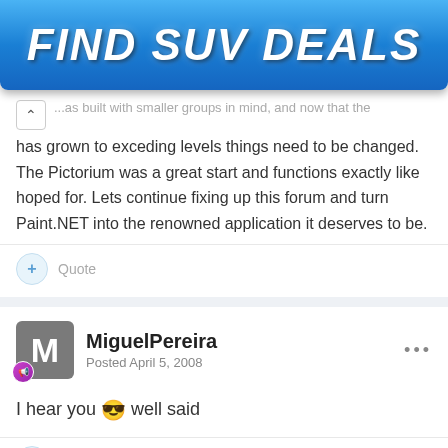[Figure (illustration): Blue gradient advertisement banner with bold white italic text reading FIND SUV DEALS]
...was built with smaller groups in mind, and now that the has grown to exceding levels things need to be changed. The Pictorium was a great start and functions exactly like hoped for. Lets continue fixing up this forum and turn Paint.NET into the renowned application it deserves to be.
+ Quote
MiguelPereira
Posted April 5, 2008
I hear you 😎 well said
+ Quote